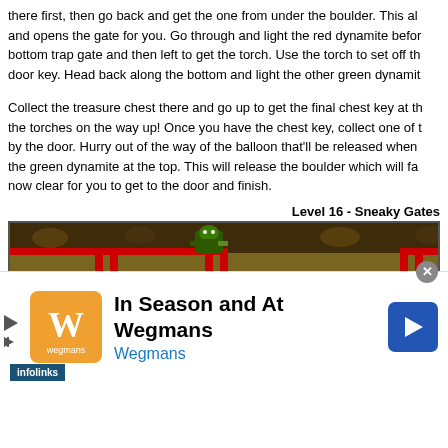there first, then go back and get the one from under the boulder. This all and opens the gate for you. Go through and light the red dynamite befor bottom trap gate and then left to get the torch. Use the torch to set off th door key. Head back along the bottom and light the other green dynamit
Collect the treasure chest there and go up to get the final chest key at th the torches on the way up! Once you have the chest key, collect one of  by the door. Hurry out of the way of the balloon that'll be released when the green dynamite at the top. This will release the boulder which will fa now clear for you to get to the door and finish.
Level 16 - Sneaky Gates
[Figure (screenshot): Screenshot of a video game level called Sneaky Gates showing a platformer game with rocky terrain, red gate structures, a green character on the left, and another character in the middle-right area.]
[Figure (infographic): Advertisement banner for Wegmans grocery store reading 'In Season and At Wegmans' with the Wegmans logo on the left and a blue navigation arrow icon on the right. An infolinks badge appears at the bottom left of the game screenshot.]